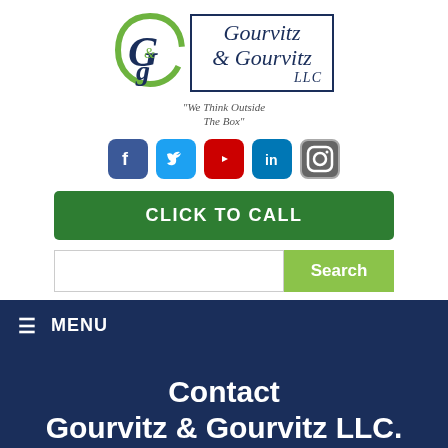[Figure (logo): Gourvitz & Gourvitz LLC logo with circular G&G emblem and italic serif text in a box, tagline: 'We Think Outside The Box']
[Figure (infographic): Row of 5 social media icons: Facebook (blue), Twitter (light blue), YouTube (red), LinkedIn (blue), Instagram (grey)]
CLICK TO CALL
Search
≡ MENU
Contact Gourvitz & Gourvitz LLC.
New Jersey
505 Morris Avenue